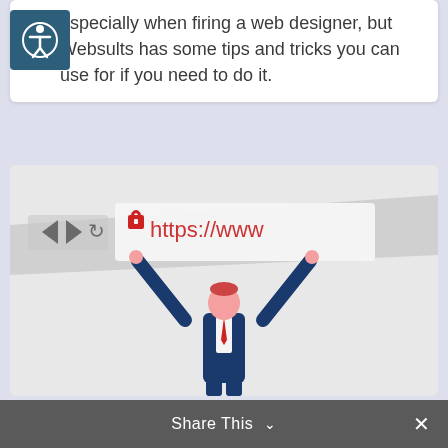especially when firing a web designer, but Websults has some tips and tricks you can use for if you need to do it.
[Figure (illustration): Illustration of a businessman in a dark suit holding up a browser address bar showing a padlock icon and 'https://www' in red text, with browser navigation arrows on the left side. The background is light gray resembling a browser window.]
Share This ∨  ×